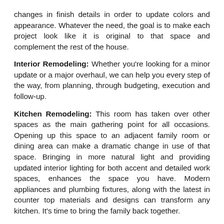changes in finish details in order to update colors and appearance. Whatever the need, the goal is to make each project look like it is original to that space and complement the rest of the house.
Interior Remodeling: Whether you're looking for a minor update or a major overhaul, we can help you every step of the way, from planning, through budgeting, execution and follow-up.
Kitchen Remodeling: This room has taken over other spaces as the main gathering point for all occasions. Opening up this space to an adjacent family room or dining area can make a dramatic change in use of that space. Bringing in more natural light and providing updated interior lighting for both accent and detailed work spaces, enhances the space you have. Modern appliances and plumbing fixtures, along with the latest in counter top materials and designs can transform any kitchen. It's time to bring the family back together.
Bathroom Remodeling: It is where we start and finish each day. It's time to wake up to a space you can get full use. Properly located outlets and lighting make it so